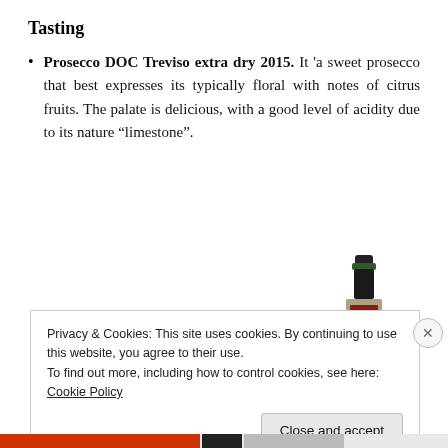Tasting
Prosecco DOC Treviso extra dry 2015. It ‘a sweet prosecco that best expresses its typically floral with notes of citrus fruits. The palate is delicious, with a good level of acidity due to its nature “limestone”.
[Figure (photo): A wine bottle photographed from above the shoulders, showing the neck and upper body. Dark bottle with label visible.]
Privacy & Cookies: This site uses cookies. By continuing to use this website, you agree to their use.
To find out more, including how to control cookies, see here: Cookie Policy
Close and accept